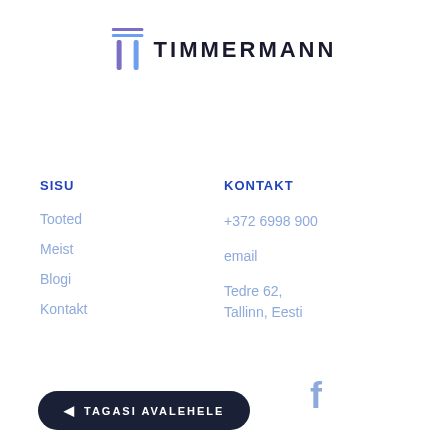[Figure (logo): Timmermann logo: stylized T icon with double horizontal bars in purple/blue gradient and bold text TIMMERMANN]
SISU
KONTAKT
Tooted
Meist
Blogi
Kontakt
+372 6998 900
email
Tedre 62, Tallinn, Eesti
[Figure (logo): Facebook f icon in light blue]
◄ TAGASI AVALEHELE